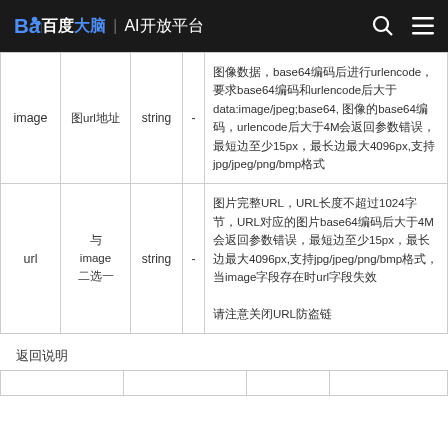百度大脑 | AI开放平台
| 参数名 | 必选 | 类型 | 默认值 | 说明 |
| --- | --- | --- | --- | --- |
| image | 图url地址 | string | - | 图像数据，base64编码后进行urlencode，要求base64编码和urlencode后大于data:image/jpeg;base64, 图像的base64编码，urlencode后大于4M会返回参数错误，最短边至少15px，最长边最大4096px,支持jpg/jpeg/png/bmp格式 |
| url | 与
image
二选一 | string | - | 图片完整URL，URL长度不超过1024字节，URL对应的图片base64编码后大于4M会返回参数错误，最短边至少15px，最长边最大4096px,支持jpg/jpeg/png/bmp格式，当image字段存在时url字段失效

请注意关闭URL防盗链 |
返回说明